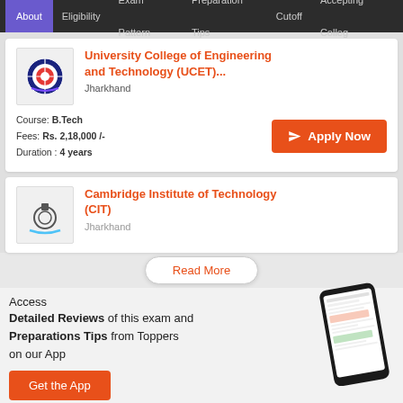About | Eligibility | Exam Pattern | Preparation Tips | Cutoff | Accepting Colleges
University College of Engineering and Technology (UCET)... Jharkhand
Course: B.Tech
Fees: Rs. 2,18,000/-
Duration: 4 years
Apply Now
Cambridge Institute of Technology (CIT)
Jharkhand
Read More
Access
Detailed Reviews of this exam and Preparations Tips from Toppers on our App
Get the App